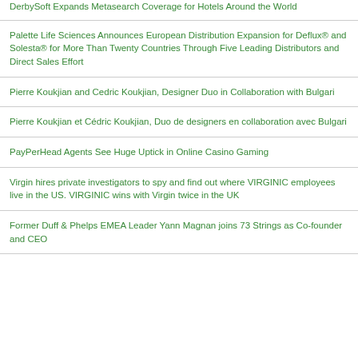DerbySoft Expands Metasearch Coverage for Hotels Around the World
Palette Life Sciences Announces European Distribution Expansion for Deflux® and Solesta® for More Than Twenty Countries Through Five Leading Distributors and Direct Sales Effort
Pierre Koukjian and Cedric Koukjian, Designer Duo in Collaboration with Bulgari
Pierre Koukjian et Cédric Koukjian, Duo de designers en collaboration avec Bulgari
PayPerHead Agents See Huge Uptick in Online Casino Gaming
Virgin hires private investigators to spy and find out where VIRGINIC employees live in the US. VIRGINIC wins with Virgin twice in the UK
Former Duff & Phelps EMEA Leader Yann Magnan joins 73 Strings as Co-founder and CEO